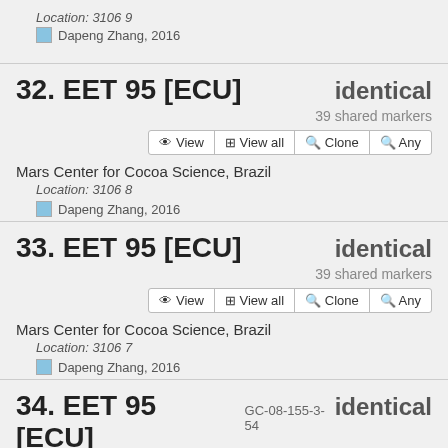Location: 3106 9
Dapeng Zhang, 2016
32. EET 95 [ECU]
identical
39 shared markers
Mars Center for Cocoa Science, Brazil
Location: 3106 8
Dapeng Zhang, 2016
33. EET 95 [ECU]
identical
39 shared markers
Mars Center for Cocoa Science, Brazil
Location: 3106 7
Dapeng Zhang, 2016
34. EET 95 [ECU] GC-08-155-3-54
identical
39 shared markers